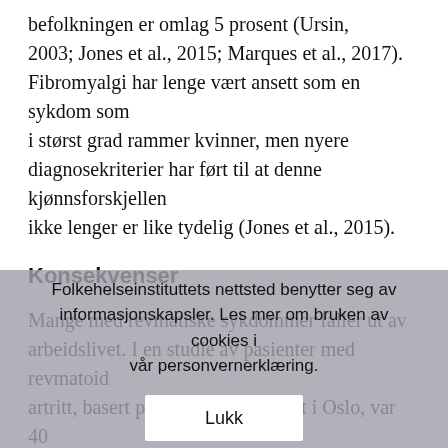befolkningen er omlag 5 prosent (Ursin, 2003; Jones et al., 2015; Marques et al., 2017). Fibromyalgi har lenge vært ansett som en sykdom som i størst grad rammer kvinner, men nyere diagnosekriterier har ført til at denne kjønnsforskjellen ikke lenger er like tydelig (Jones et al., 2015).
Konsekvenser
Mange med revmatiske sykdommer faller ut av arbeidslivet. I en studie av pasienter med revmatoid artritt, basert på leddgiktsregisteret i Oslo, var 40 prosent av deltakerne arbeidsufør etter å ha levd, Kvien, Mowinckel, & Uhlig, 2003). Tilsvarende funn er gjort for den revmatiske sykdommen Bekhterevs sykdom (Bakland, Gran, Brun Olsen, Norderhaug & Nossent, 2011). Bedre sykdoms kontroll behandler ser ut til å kunne forebygge behovet for uføretrygd i
Folkehelseinstituttets nettsted benytter seg av informasjonskapsler. Les mer om bruken av cookies i vår personvernerklæring.
Lukk